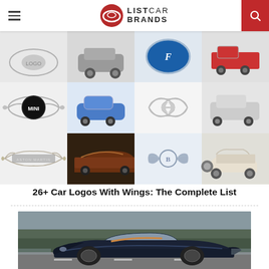ListCar Brands
[Figure (photo): Grid of car brand logos with wings (Mini, SsangYong, Aston Martin, Bentley, Morgan) and corresponding car images]
26+ Car Logos With Wings: The Complete List
[Figure (photo): Photo of a dark blue Bugatti Veyron Grand Sport driving on a road with trees in background]